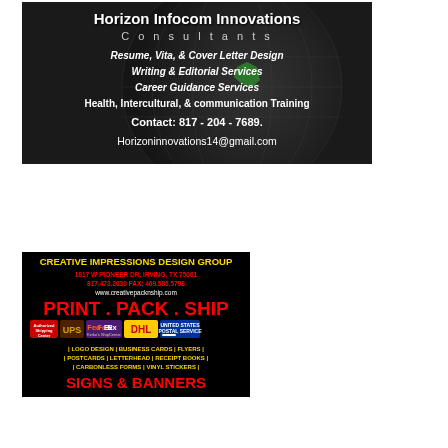[Figure (advertisement): Horizon Infocom Innovations Consultants advertisement with dark globe background. Text includes company name, services (Resume/Vita/Cover Letter Design, Writing & Editorial Services, Career Guidance Services, Health Intercultural & communication Training), contact number 817-204-7689 and email Horizoninnovations14@gmail.com]
[Figure (advertisement): Creative Impressions Design Group advertisement on black background. Yellow title text, red address (1817 W Pioneer Dr. Irving TX 75061, 817.473.2030 FAX: 469.586.5798), website www.creativepacknship.com, PRINT PACK SHIP in large red text, shipping carrier logos (UPS FedEx DHL USPS), services list (Logo Design, Business Cards, Flyers, Postcards, Letterhead, Receipt Books, Carbonless Forms, Vinyl Stickers), SIGNS & BANNERS in large red text]